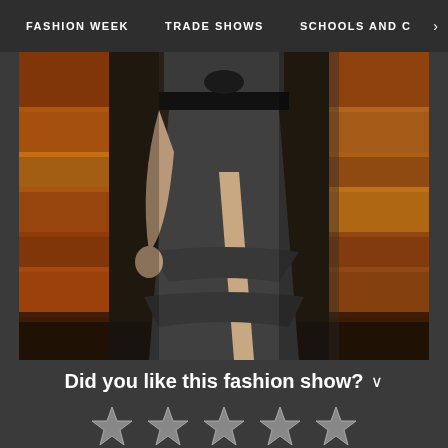FASHION WEEK   TRADE SHOWS   SCHOOLS AND C >
[Figure (photo): Fashion runway photo showing a model from waist down wearing a dark gray layered maxi skirt with a high slit, with autumn-colored brick wall background]
Did you like this fashion show?
[Figure (infographic): Five star rating icons in a row, all outlined/unfilled stars in white against dark background]